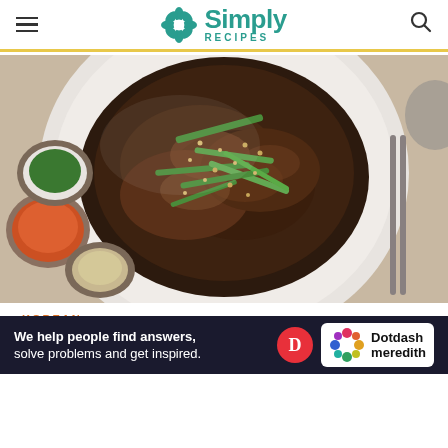Simply Recipes
[Figure (photo): Overhead view of Korean beef bulgogi served in a white plate, topped with sliced green onions and sesame seeds. Side bowls with kimchi, chopped scallions, and sesame seeds visible around the plate on a light surface.]
KOREAN
Easy Beef Bulgogi
[Figure (other): Dotdash Meredith advertisement banner: 'We help people find answers, solve problems and get inspired.' with Dotdash Meredith logo.]